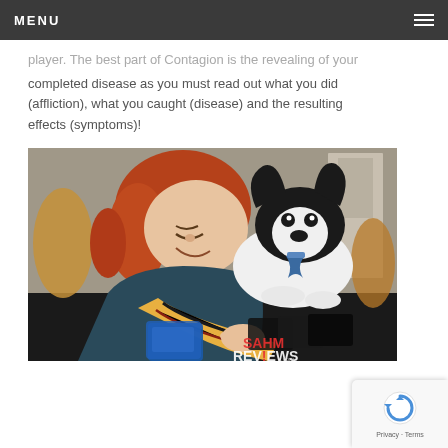MENU
player. The best part of Contagion is the revealing of your completed disease as you must read out what you did (affliction), what you caught (disease) and the resulting effects (symptoms)!
[Figure (photo): A young woman with red hair smiling and looking at a black and white dog (chihuahua or similar small dog) sitting on a dark table. Playing cards are spread on the table. A SAHM Reviews watermark is visible in the lower right corner.]
Privacy · Terms